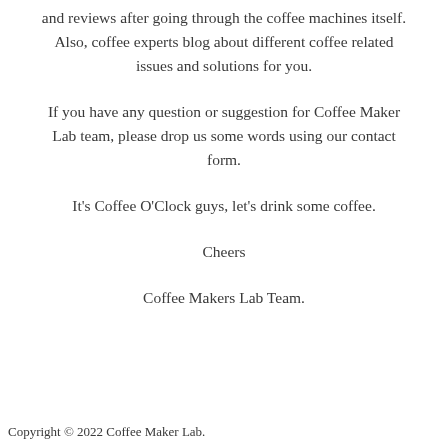and reviews after going through the coffee machines itself. Also, coffee experts blog about different coffee related issues and solutions for you.
If you have any question or suggestion for Coffee Maker Lab team, please drop us some words using our contact form.
It’s Coffee O’Clock guys, let’s drink some coffee.
Cheers
Coffee Makers Lab Team.
Copyright © 2022 Coffee Maker Lab.